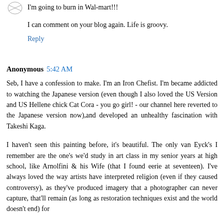I'm going to burn in Wal-mart!!!
I can comment on your blog again. Life is groovy.
Reply
Anonymous 5:42 AM
Seb, I have a confession to make. I'm an Iron Chefist. I'm became addicted to watching the Japanese version (even though I also loved the US Version and US Hellene chick Cat Cora - you go girl! - our channel here reverted to the Japanese version now),and developed an unhealthy fascination with Takeshi Kaga.
I haven't seen this painting before, it's beautiful. The only van Eyck's I remember are the one's we'd study in art class in my senior years at high school, like Arnolfini & his Wife (that I found eerie at seventeen). I've always loved the way artists have interpreted religion (even if they caused controversy), as they've produced imagery that a photographer can never capture, that'll remain (as long as restoration techniques exist and the world doesn't end) for